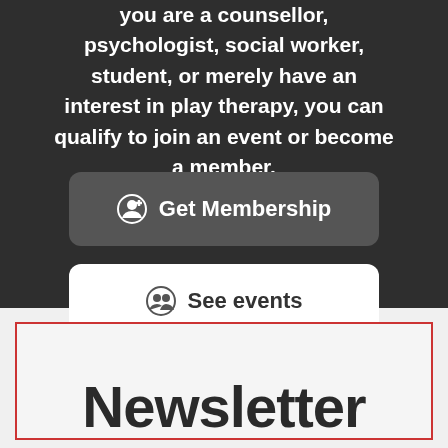you are a counsellor, psychologist, social worker, student, or merely have an interest in play therapy, you can qualify to join an event or become a member.
Get Membership
See events
Newsletter